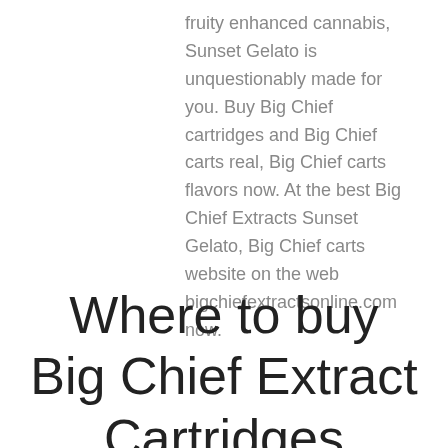fruity enhanced cannabis, Sunset Gelato is unquestionably made for you. Buy Big Chief cartridges and Big Chief carts real, Big Chief carts flavors now. At the best Big Chief Extracts Sunset Gelato, Big Chief carts website on the web bigchiefextractsonline.com now.
Where to buy Big Chief Extract Cartridges